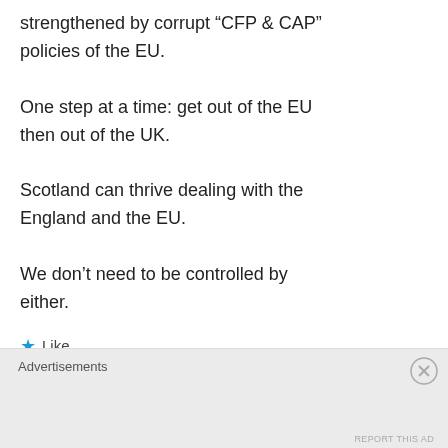strengthened by corrupt “CFP & CAP” policies of the EU.

One step at a time: get out of the EU then out of the UK.

Scotland can thrive dealing with the England and the EU.

We don’t need to be controlled by either.
★ Like
REPLY
Advertisements